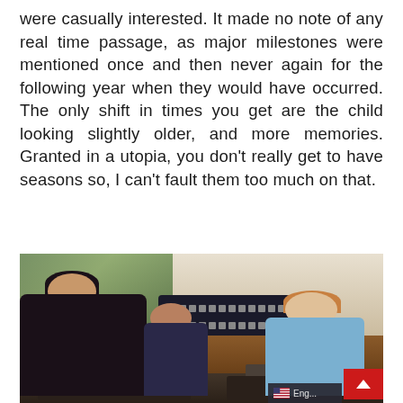were casually interested. It made no note of any real time passage, as major milestones were mentioned once and then never again for the following year when they would have occurred. The only shift in times you get are the child looking slightly older, and more memories. Granted in a utopia, you don't really get to have seasons so, I can't fault them too much on that.
[Figure (photo): A still from a TV show or film showing three young people seated at modern dining tables in a futuristic-looking room. A young woman with dark hair in a black top is in the foreground left, a girl in the middle background, and a young man in a light blue shirt on the right. There are food trays on the tables and electronic panel displays in the background. A red scroll-to-top button and a language selector showing 'Eng...' with a US flag are visible in the bottom right corner.]